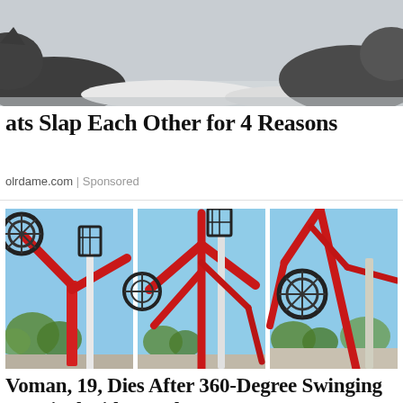[Figure (photo): Photo of a cat lying on a floor, showing its body and white paws from low angle]
ats Slap Each Other for 4 Reasons
olrdame.com | Sponsored
[Figure (photo): Three panel photo of a red carnival swinging ride in mid-air against blue sky, showing the structure breaking apart or in extreme swing positions]
Voman, 19, Dies After 360-Degree Swinging Carnival Ride Breaks Apart MidairWoman...